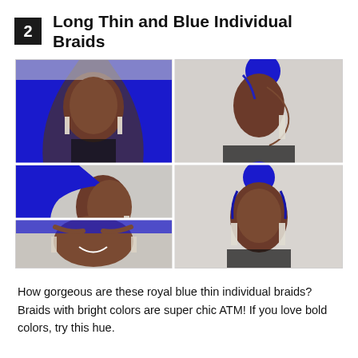2 Long Thin and Blue Individual Braids
[Figure (photo): A collage of 5 photos showing a woman with long royal blue thin individual braids styled in different ways: front view with hair down, side profile with hair in a bun, side profile with hair in a ponytail, updo bun from the front, and smiling selfie-style photo with hair partially up.]
How gorgeous are these royal blue thin individual braids? Braids with bright colors are super chic ATM! If you love bold colors, try this hue.